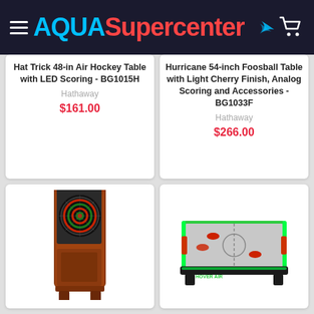AQUASupercenter
Hat Trick 48-in Air Hockey Table with LED Scoring - BG1015H
Hathaway
$161.00
Hurricane 54-inch Foosball Table with Light Cherry Finish, Analog Scoring and Accessories - BG1033F
Hathaway
$266.00
[Figure (photo): Dart board cabinet - a tall wooden cabinet in cherry finish with a dartboard mounted inside the open door]
[Figure (photo): Green air hockey table - a compact tabletop air hockey game with green glowing sides and red pucks]